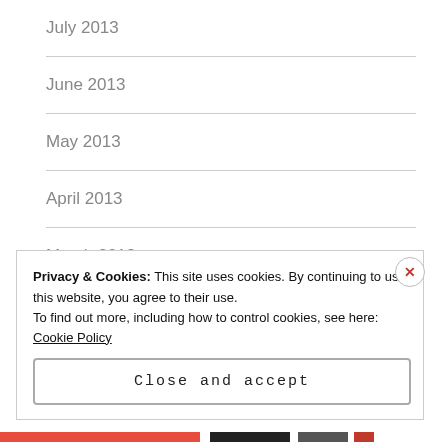July 2013
June 2013
May 2013
April 2013
March 2013
February 2013
January 2013
Privacy & Cookies: This site uses cookies. By continuing to use this website, you agree to their use.
To find out more, including how to control cookies, see here: Cookie Policy
Close and accept